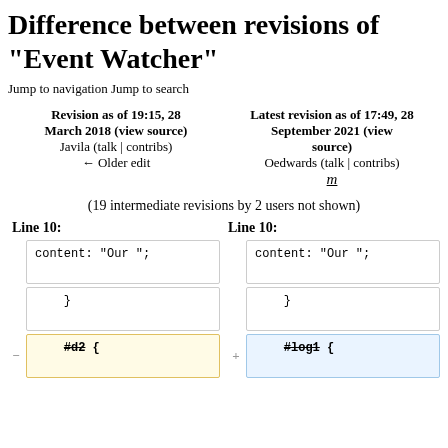Difference between revisions of "Event Watcher"
Jump to navigation Jump to search
| Revision as of 19:15, 28 March 2018 (view source) | Latest revision as of 17:49, 28 September 2021 (view source) |
| --- | --- |
| Javila (talk | contribs) | Oedwards (talk | contribs) |
| ← Older edit | m |
(19 intermediate revisions by 2 users not shown)
Line 10:    Line 10:
| Left diff | Right diff |
| --- | --- |
| content: "Our "; | content: "Our "; |
| } | } |
| #d2 { | #log1 { |